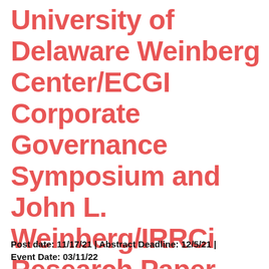University of Delaware Weinberg Center/ECGI Corporate Governance Symposium and John L. Weinberg/IRRCi Research Paper Award Competition
Post date: 11/17/21 | Abstract Deadline: 12/5/21 | Event Date: 03/11/22